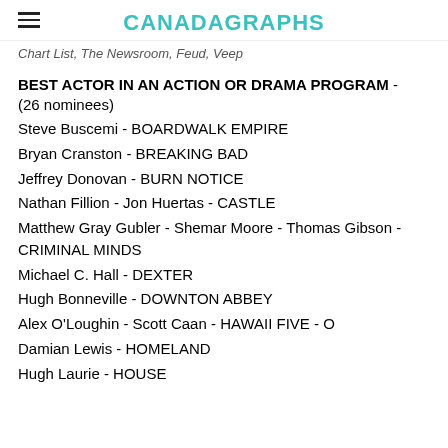CANADAGRAPHS
Chart List, The Newsroom, Feud, Veep
BEST ACTOR IN AN ACTION OR DRAMA PROGRAM - (26 nominees)
Steve Buscemi - BOARDWALK EMPIRE
Bryan Cranston - BREAKING BAD
Jeffrey Donovan - BURN NOTICE
Nathan Fillion - Jon Huertas - CASTLE
Matthew Gray Gubler - Shemar Moore - Thomas Gibson - CRIMINAL MINDS
Michael C. Hall - DEXTER
Hugh Bonneville - DOWNTON ABBEY
Alex O'Loughin - Scott Caan - HAWAII FIVE - O
Damian Lewis - HOMELAND
Hugh Laurie - HOUSE